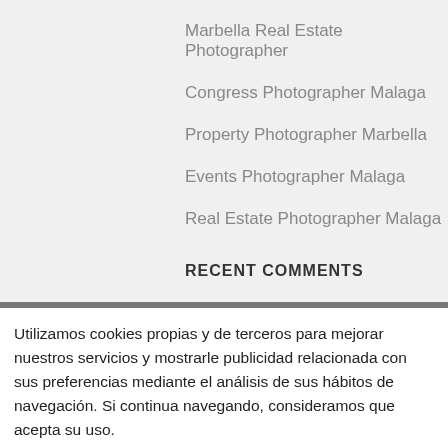Marbella Real Estate Photographer
Congress Photographer Malaga
Property Photographer Marbella
Events Photographer Malaga
Real Estate Photographer Malaga
RECENT COMMENTS
Utilizamos cookies propias y de terceros para mejorar nuestros servicios y mostrarle publicidad relacionada con sus preferencias mediante el análisis de sus hábitos de navegación. Si continua navegando, consideramos que acepta su uso.
ACEPTAR    MÁS INFO